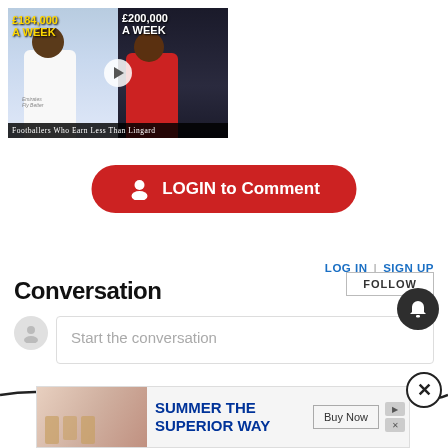[Figure (screenshot): YouTube video thumbnail showing two footballers side by side. Left side shows a player in white Real Madrid kit with text '£184,000 A WEEK' in yellow. Right side shows a player in red Nottingham Forest kit with text '£200,000 A WEEK' in white. Caption reads 'Footballers Who Earn Less Than Lingard'. A play button is visible in the center.]
[Figure (screenshot): Red rounded button with user icon and text 'LOGIN to Comment']
LOG IN | SIGN UP
Conversation
[Figure (screenshot): FOLLOW button and conversation input area with avatar and placeholder text 'Start the conversation'. Notification bell icon and close X button overlaid.]
[Figure (screenshot): Advertisement banner at bottom: image of people at table with bottles, text 'SUMMER THE SUPERIOR WAY' in blue bold, 'Buy Now' button, and small ad icons on right.]